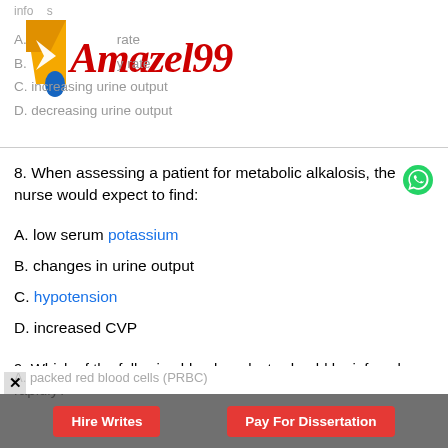[Figure (logo): Amazel990 logo with yellow and blue geometric shapes and red stylized text 'Amazel990']
A. [partially obscured] rate
B. [partially obscured] rate
C. increasing urine output
D. decreasing urine output
8. When assessing a patient for metabolic alkalosis, the nurse would expect to find:
A. low serum potassium
B. changes in urine output
C. hypotension
D. increased CVP
9. Which of the following blood products should be infused rapidly?
A. packed red blood cells (PRBC)